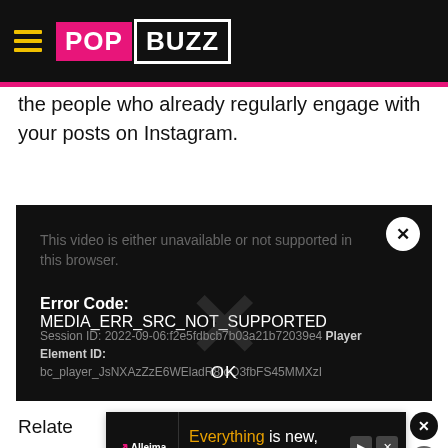PopBuzz
the people who already regularly engage with your posts on Instagram.
[Figure (screenshot): Video player error dialog on dark background showing: 'This video is either unavailable or not supported in this browser.' Error Code: MEDIA_ERR_SRC_NOT_SUPPORTED. Session ID: 2022-09-06:f2e5fdbcb7b03a21b72039e4 Player Element ID: bc_player_JsNXAzZzE6WEladR8loQ3fbFS45MMXzI. With OK button and X close button.]
[Figure (screenshot): Advertisement banner for Alleima: 'Everything is new, nothing has changed' with play/close icons.]
Relate